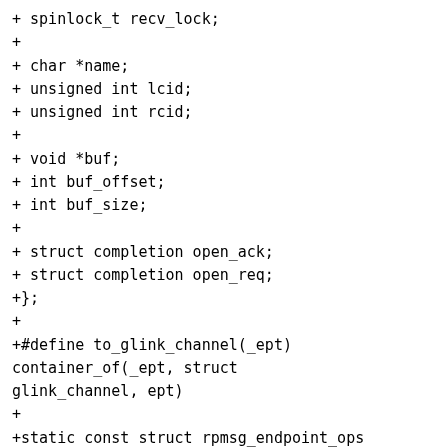+ spinlock_t recv_lock;
+
+ char *name;
+ unsigned int lcid;
+ unsigned int rcid;
+
+ void *buf;
+ int buf_offset;
+ int buf_size;
+
+ struct completion open_ack;
+ struct completion open_req;
+};
+
+#define to_glink_channel(_ept) container_of(_ept, struct glink_channel, ept)
+
+static const struct rpmsg_endpoint_ops glink_endpoint_ops;
+
+#define RPM_CMD_VERSION 0
+#define RPM_CMD_VERSION_ACK 1
+#define RPM_CMD_OPEN 2
+#define RPM_CMD_CLOSE 3
+#define RPM_CMD_OPEN_ACK 4
+#define RPM_CMD_TX_DATA 9